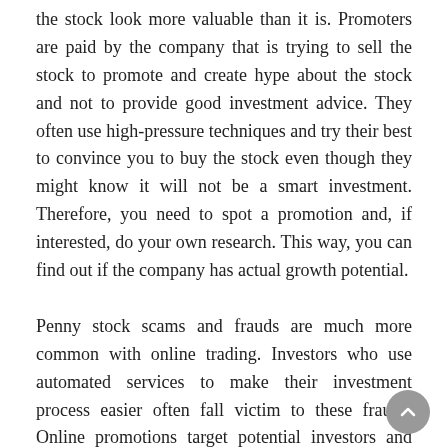the stock look more valuable than it is. Promoters are paid by the company that is trying to sell the stock to promote and create hype about the stock and not to provide good investment advice. They often use high-pressure techniques and try their best to convince you to buy the stock even though they might know it will not be a smart investment. Therefore, you need to spot a promotion and, if interested, do your own research. This way, you can find out if the company has actual growth potential.
Penny stock scams and frauds are much more common with online trading. Investors who use automated services to make their investment process easier often fall victim to these frauds. Online promotions target potential investors and promise enormous returns. These promotions look impressive and are often very convincing to the relatively inexperienced investor or trader. Unfortunately, there have been many cases where professional penny stock promoters have been linked to scams and lawsuits.